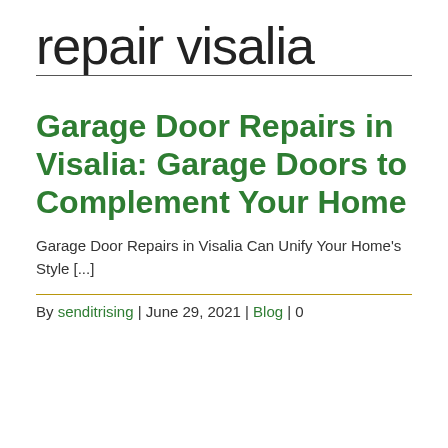repair visalia
Garage Door Repairs in Visalia: Garage Doors to Complement Your Home
Garage Door Repairs in Visalia Can Unify Your Home's Style [...]
By senditrising | June 29, 2021 | Blog | 0